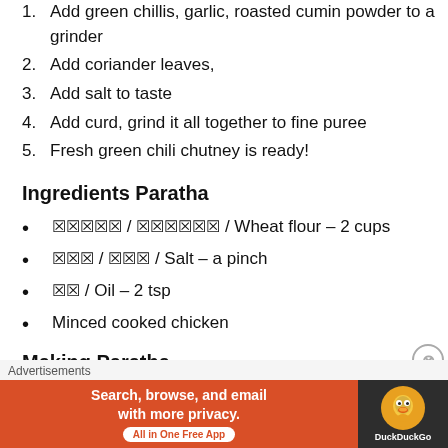1. Add green chillis, garlic, roasted cumin powder to a grinder
2. Add coriander leaves,
3. Add salt to taste
4. Add curd, grind it all together to fine puree
5. Fresh green chili chutney is ready!
Ingredients Paratha
☒☒☒☒☒ / ☒☒☒☒☒☒ / Wheat flour – 2 cups
☒☒☒ / ☒☒☒ / Salt – a pinch
☒☒ / Oil – 2 tsp
Minced cooked chicken
Making Paratha
[Figure (screenshot): DuckDuckGo advertisement banner with orange background: 'Search, browse, and email with more privacy. All in One Free App' and DuckDuckGo logo on dark background]